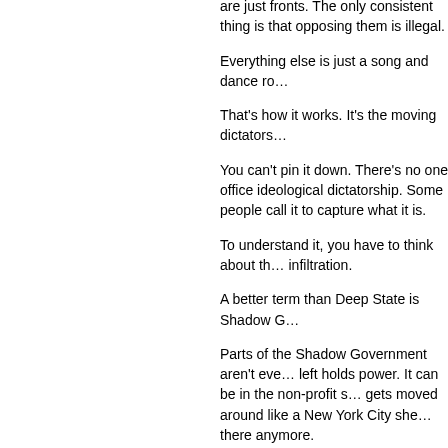are just fronts. The only consistent thing is that opposing them is illegal.
Everything else is just a song and dance ro…
That’s how it works. It’s the moving dictators…
You can’t pin it down. There’s no one office ideological dictatorship. Some people call it to capture what it is.
To understand it, you have to think about th… infiltration.
A better term than Deep State is Shadow G…
Parts of the Shadow Government aren’t eve… left holds power. It can be in the non-profit s… gets moved around like a New York City she… there anymore.
The shadow government is an ideological m… hashtag #Resistance. Under any name, it ru… realize that. When things are normal, when bunch of Democrats in Congress, it’s busine…
Even with most Republican presidents, you ordinary. Sure, the Democrats got their way usually played.